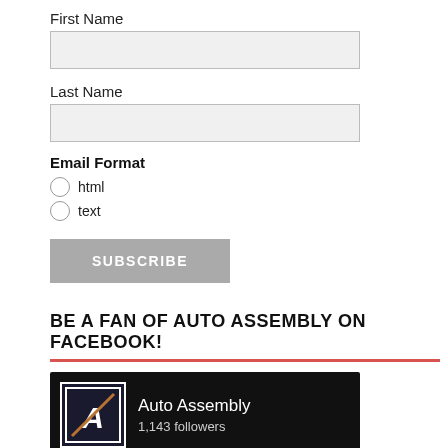First Name
Last Name
Email Format
html
text
SUBSCRIBE
BE A FAN OF AUTO ASSEMBLY ON FACEBOOK!
[Figure (screenshot): Facebook page widget for Auto Assembly showing 1,143 followers, logo, banner, Follow Page and Share buttons]